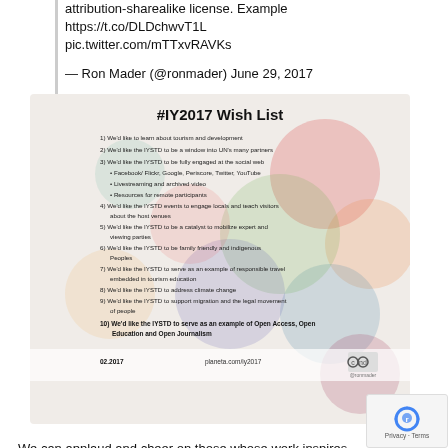attribution-sharealike license. Example https://t.co/DLDchwvT1L pic.twitter.com/mTTxvRAVKs
— Ron Mader (@ronmader) June 29, 2017
[Figure (infographic): #IY2017 Wish List infographic showing 10 wishes for IYSTD including open access, open education and open journalism. Dated 02.2017, planeta.com/iy2017]
We can applaud and cheer on those whose work inspired this #YearOfOpen.
Embedded Tweets